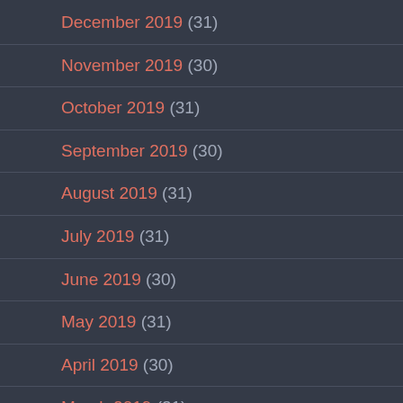December 2019 (31)
November 2019 (30)
October 2019 (31)
September 2019 (30)
August 2019 (31)
July 2019 (31)
June 2019 (30)
May 2019 (31)
April 2019 (30)
March 2019 (31)
February 2019 (28)